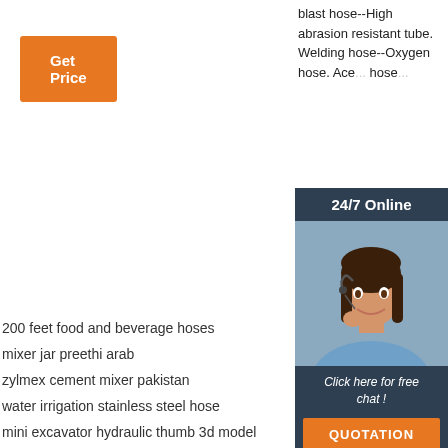[Figure (other): Orange 'Get Price' button at top left]
blast hose--High abrasion resistant tube. Welding hose--Oxygen hose. Ace... hose...
[Figure (infographic): 24/7 Online chat widget with woman wearing headset, 'Click here for free chat!' text, and QUOTATION orange button]
200 feet food and beverage hoses
mixer jar preethi arab
zylmex cement mixer pakistan
water irrigation stainless steel hose
mini excavator hydraulic thumb 3d model
stainless steel wire braided ptfe biotech hose
[Figure (illustration): Orange and dark 'TOP' button with dots forming an upward arrow, indicating scroll-to-top]